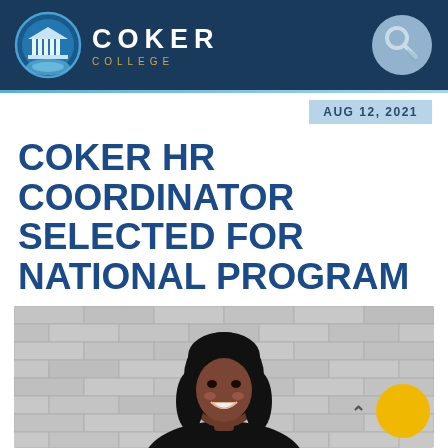COKER COLLEGE
AUG 12, 2021
COKER HR COORDINATOR SELECTED FOR NATIONAL PROGRAM
[Figure (photo): A smiling woman with long black hair standing in front of a gray brick wall, wearing a black top.]